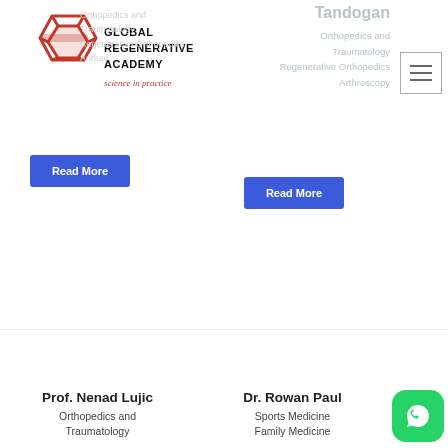[Figure (logo): Global Regenerative Academy logo with red hexagonal geometric mark and bold text 'GLOBAL REGENERATIVE ACADEMY' with tagline 'science in practice']
Orthopedics and Traumatology Regenerative Orthopedics Annual
Tandogan
Orthopedics and Traumatology Regenerative Orthopedics Arthroscopy
Read More
Read More
Prof. Nenad Lujic
Orthopedics and Traumatology
Dr. Rowan Paul
Sports Medicine Family Medicine